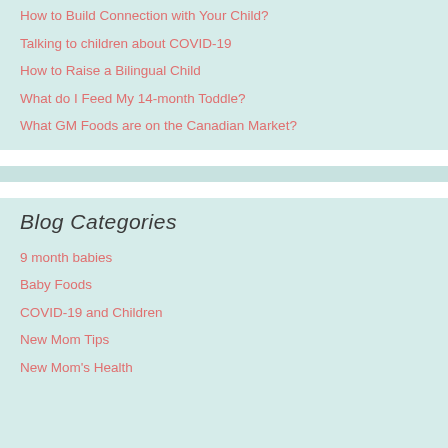How to Build Connection with Your Child?
Talking to children about COVID-19
How to Raise a Bilingual Child
What do I Feed My 14-month Toddle?
What GM Foods are on the Canadian Market?
Blog Categories
9 month babies
Baby Foods
COVID-19 and Children
New Mom Tips
New Mom's Health